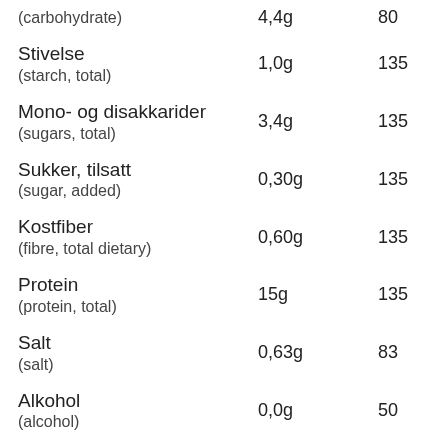| Name | Value | ID |
| --- | --- | --- |
| (carbohydrate) | 4,4g | 80 |
| Stivelse
(starch, total) | 1,0g | 135 |
| Mono- og disakkarider
(sugars, total) | 3,4g | 135 |
| Sukker, tilsatt
(sugar, added) | 0,30g | 135 |
| Kostfiber
(fibre, total dietary) | 0,60g | 135 |
| Protein
(protein, total) | 15g | 135 |
| Salt
(salt) | 0,63g | 83 |
| Alkohol
(alcohol) | 0,0g | 50 |
| Vitamin A
(vitamin A; retinol equiv) | 220RAE | 85 |